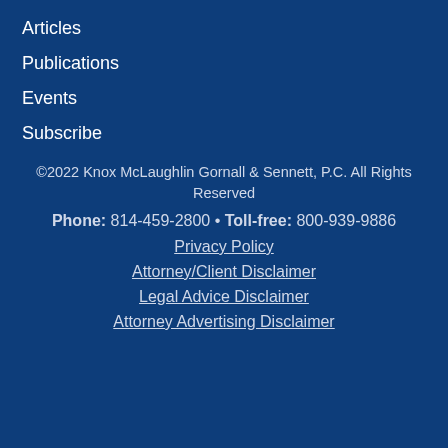Articles
Publications
Events
Subscribe
©2022 Knox McLaughlin Gornall & Sennett, P.C. All Rights Reserved
Phone: 814-459-2800 • Toll-free: 800-939-9886
Privacy Policy
Attorney/Client Disclaimer
Legal Advice Disclaimer
Attorney Advertising Disclaimer